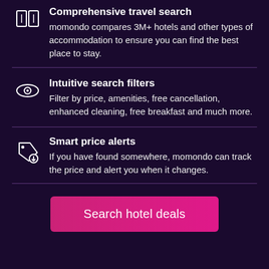Comprehensive travel search
momondo compares 3M+ hotels and other types of accommodation to ensure you can find the best place to stay.
Intuitive search filters
Filter by price, amenities, free cancellation, enhanced cleaning, free breakfast and much more.
Smart price alerts
If you have found somewhere, momondo can track the price and alert you when it changes.
Search hotel deals